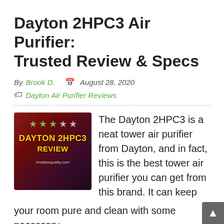Dayton 2HPC3 Air Purifier: Trusted Review & Specs
By Brook D.   August 28, 2020
Dayton Air Purifier Reviews
[Figure (illustration): Thumbnail image for Dayton 2HPC3 Review showing star rating (3 out of 5 green stars) and stylized text 'DAYTON 2HPC3 REVIEW' on a dark red/purple background with watermark breathequality.com]
The Dayton 2HPC3 is a neat tower air purifier from Dayton, and in fact, this is the best tower air purifier you can get from this brand. It can keep your room pure and clean with some necessary upgrades in the product, but for the price, is it